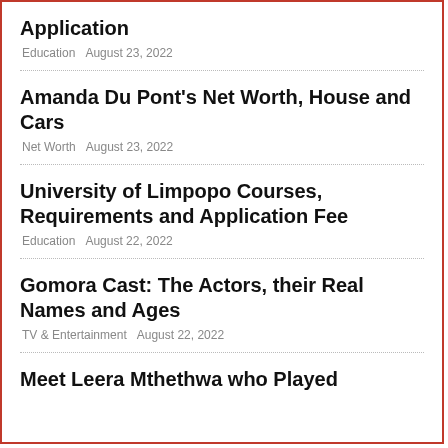Application
Education   August 23, 2022
Amanda Du Pont's Net Worth, House and Cars
Net Worth   August 23, 2022
University of Limpopo Courses, Requirements and Application Fee
Education   August 22, 2022
Gomora Cast: The Actors, their Real Names and Ages
TV & Entertainment   August 22, 2022
Meet Leera Mthethwa who Played